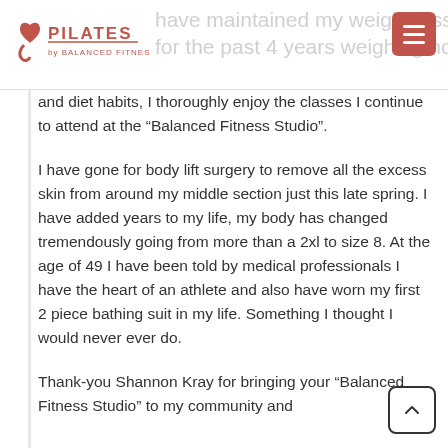Pilates by Balanced Fitness — have maintained my weight loss for the past 4 years weighing now 145-150
and diet habits, I thoroughly enjoy the classes I continue to attend at the “Balanced Fitness Studio”.
I have gone for body lift surgery to remove all the excess skin from around my middle section just this late spring. I have added years to my life, my body has changed tremendously going from more than a 2xl to size 8. At the age of 49 I have been told by medical professionals I have the heart of an athlete and also have worn my first 2 piece bathing suit in my life. Something I thought I would never ever do.
Thank-you Shannon Kray for bringing your “Balanced Fitness Studio” to my community and